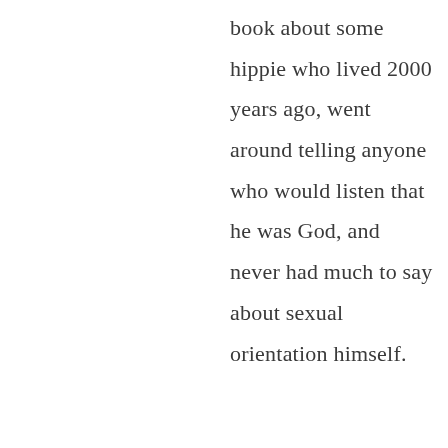book about some hippie who lived 2000 years ago, went around telling anyone who would listen that he was God, and never had much to say about sexual orientation himself.